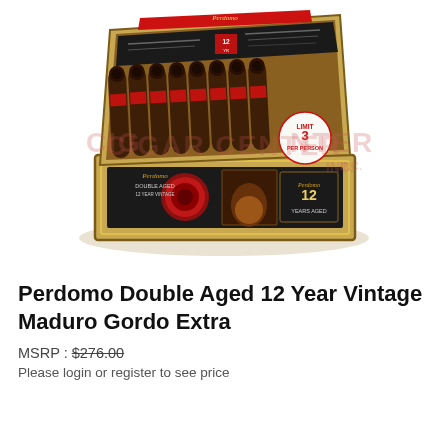[Figure (photo): Open box of Perdomo Double Aged 12 Year Vintage Maduro Gordo Extra cigars with a red band, showing rows of dark cigars. A circular 'Limit 3 Per Person' sticker is visible on the right side. A watermark reading 'CIGAR CENTER INC.' is overlaid on the image. The box lid shows product information graphics.]
Perdomo Double Aged 12 Year Vintage Maduro Gordo Extra
MSRP : $276.00
Please login or register to see price